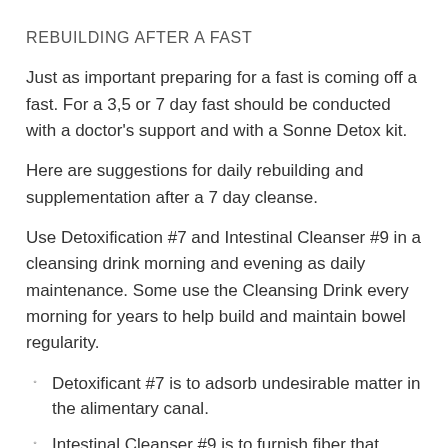REBUILDING AFTER A FAST
Just as important preparing for a fast is coming off a fast. For a 3,5 or 7 day fast should be conducted with a doctor's support and with a Sonne Detox kit.
Here are suggestions for daily rebuilding and supplementation after a 7 day cleanse.
Use Detoxification #7 and Intestinal Cleanser #9 in a cleansing drink morning and evening as daily maintenance. Some use the Cleansing Drink every morning for years to help build and maintain bowel regularity.
Detoxificant #7 is to adsorb undesirable matter in the alimentary canal.
Intestinal Cleanser #9 is to furnish fiber that retains moisture. It is mucilaginous, slippery, soft and bulky.
For best results, take 20 of the #10 Greenlife, 12 capsules of the Wheat Germ Oil, 4 tablets of Natural Source Vitamin